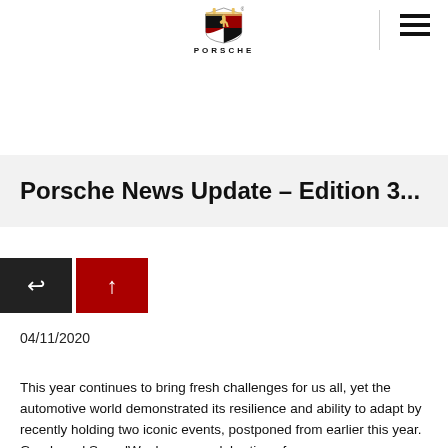[Figure (logo): Porsche crest logo with PORSCHE wordmark below]
Porsche News Update - Edition 3...
04/11/2020
This year continues to bring fresh challenges for us all, yet the automotive world demonstrated its resilience and ability to adapt by recently holding two iconic events, postponed from earlier this year. Goodwood SpeedWeek was a celebration of